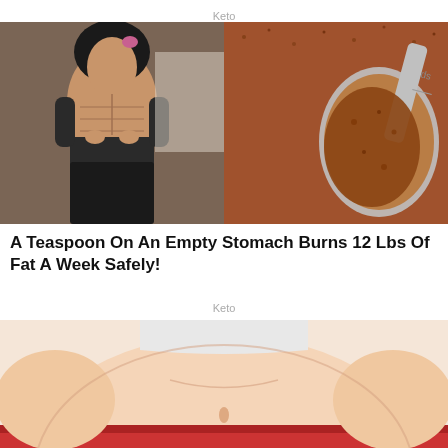Keto
[Figure (photo): Left: woman lifting shirt showing defined abs. Right: close-up of a measuring spoon filled with brown spice powder.]
A Teaspoon On An Empty Stomach Burns 12 Lbs Of Fat A Week Safely!
Keto
[Figure (illustration): Cartoon illustration of an overweight belly/torso from above, wearing white top and red pants.]